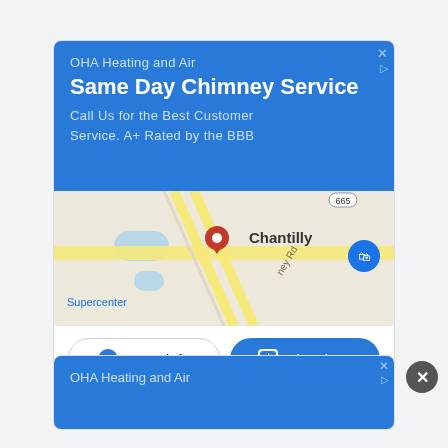[Figure (screenshot): Google ad card for OHA Heating and Air with blue header, map showing Chantilly location, and Store info / Directions buttons]
OHA Heating and Air
Same Day Chimney Service
Call Us for the Best Customer Service. A+ Rated by the BBB
[Figure (map): Google Maps snippet showing Chantilly area with a red location pin and road layout including Supercenter label]
Store info
Directions
[Figure (screenshot): Partial second Google ad card for OHA Heating and Air, partially visible at bottom of page]